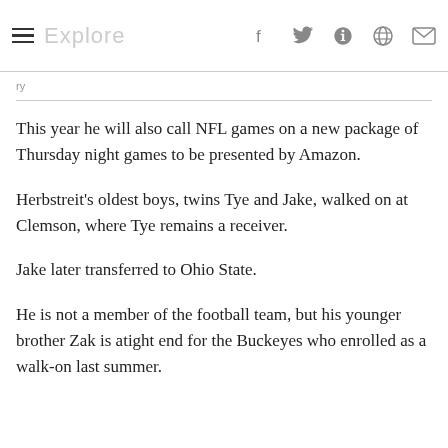Explore   f  𝕡  reddit  mail
This year he will also call NFL games on a new package of Thursday night games to be presented by Amazon.
Herbstreit's oldest boys, twins Tye and Jake, walked on at Clemson, where Tye remains a receiver.
Jake later transferred to Ohio State.
He is not a member of the football team, but his younger brother Zak is atight end for the Buckeyes who enrolled as a walk-on last summer.